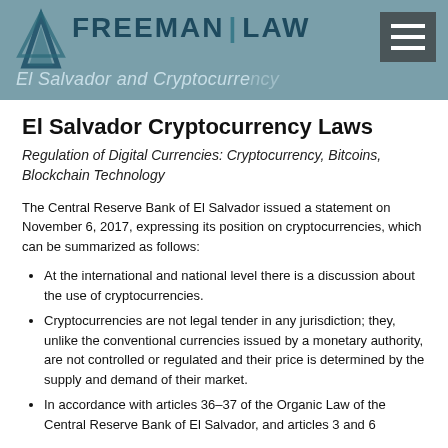[Figure (logo): Freeman Law logo with teal background banner showing stylized icon, 'FREEMAN LAW' text, and 'El Salvador and Cryptocurrency' subtitle. Hamburger menu button in top right.]
El Salvador Cryptocurrency Laws
Regulation of Digital Currencies: Cryptocurrency, Bitcoins, Blockchain Technology
The Central Reserve Bank of El Salvador issued a statement on November 6, 2017, expressing its position on cryptocurrencies, which can be summarized as follows:
At the international and national level there is a discussion about the use of cryptocurrencies.
Cryptocurrencies are not legal tender in any jurisdiction; they, unlike the conventional currencies issued by a monetary authority, are not controlled or regulated and their price is determined by the supply and demand of their market.
In accordance with articles 36–37 of the Organic Law of the Central Reserve Bank of El Salvador, and articles 3 and 6